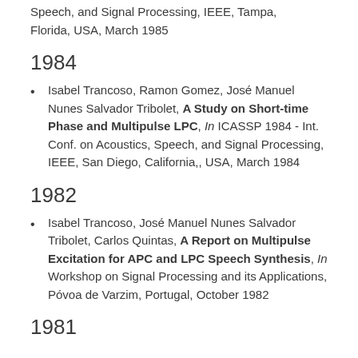Speech, and Signal Processing, IEEE, Tampa, Florida, USA, March 1985
1984
Isabel Trancoso, Ramon Gomez, José Manuel Nunes Salvador Tribolet, A Study on Short-time Phase and Multipulse LPC, In ICASSP 1984 - Int. Conf. on Acoustics, Speech, and Signal Processing, IEEE, San Diego, California,, USA, March 1984
1982
Isabel Trancoso, José Manuel Nunes Salvador Tribolet, Carlos Quintas, A Report on Multipulse Excitation for APC and LPC Speech Synthesis, In Workshop on Signal Processing and its Applications, Póvoa de Varzim, Portugal, October 1982
1981